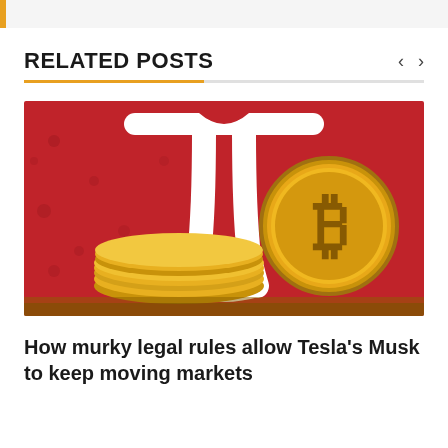RELATED POSTS
[Figure (photo): Bitcoin coins (gold colored) stacked in front of a red background featuring the white Tesla logo. A large Bitcoin coin stands upright on the right side, with smaller coins laid flat to the left.]
How murky legal rules allow Tesla’s Musk to keep moving markets